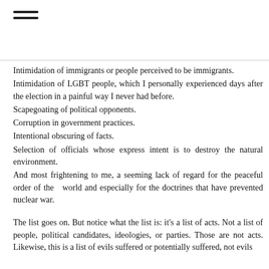≡
Intimidation of immigrants or people perceived to be immigrants.
Intimidation of LGBT people, which I personally experienced days after the election in a painful way I never had before.
Scapegoating of political opponents.
Corruption in government practices.
Intentional obscuring of facts.
Selection of officials whose express intent is to destroy the natural environment.
And most frightening to me, a seeming lack of regard for the peaceful order of the  world and especially for the doctrines that have prevented nuclear war.
The list goes on. But notice what the list is: it's a list of acts. Not a list of people, political candidates, ideologies, or parties. Those are not acts. Likewise, this is a list of evils suffered or potentially suffered, not evils